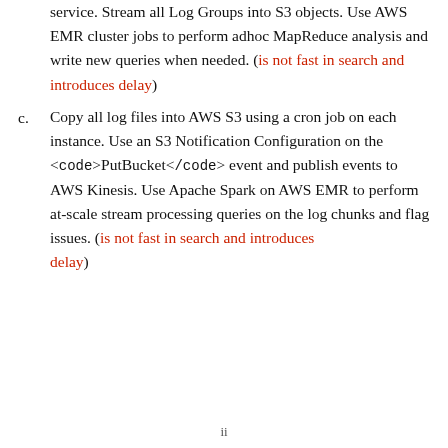service. Stream all Log Groups into S3 objects. Use AWS EMR cluster jobs to perform adhoc MapReduce analysis and write new queries when needed. (is not fast in search and introduces delay)
Copy all log files into AWS S3 using a cron job on each instance. Use an S3 Notification Configuration on the <code>PutBucket</code> event and publish events to AWS Kinesis. Use Apache Spark on AWS EMR to perform at-scale stream processing queries on the log chunks and flag issues. (is not fast in search and introduces delay)